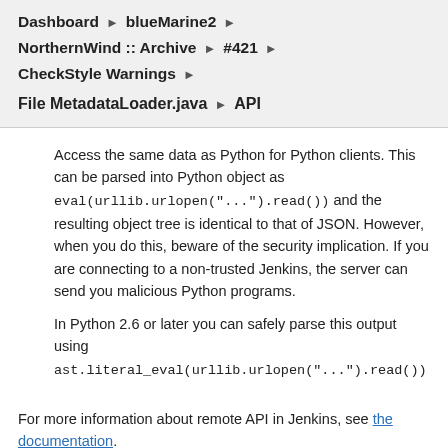Dashboard ▶ blueMarine2 ▶
NorthernWind :: Archive ▶ #421 ▶
CheckStyle Warnings ▶
File MetadataLoader.java ▶ API
Access the same data as Python for Python clients. This can be parsed into Python object as eval(urllib.urlopen("...").read()) and the resulting object tree is identical to that of JSON. However, when you do this, beware of the security implication. If you are connecting to a non-trusted Jenkins, the server can send you malicious Python programs.
In Python 2.6 or later you can safely parse this output using ast.literal_eval(urllib.urlopen("...").read())
For more information about remote API in Jenkins, see the documentation.